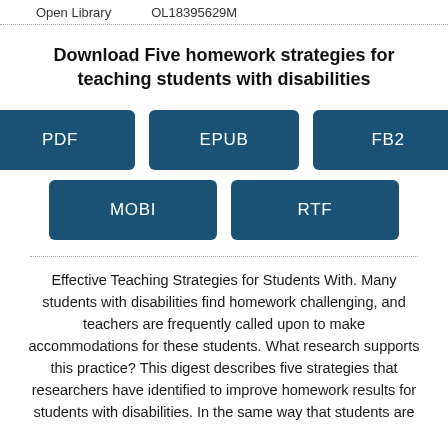Open Library    OL18395629M
Download Five homework strategies for teaching students with disabilities
[Figure (infographic): Five download format buttons: PDF, EPUB, FB2 in top row; MOBI, RTF in bottom row. All buttons are dark teal/blue rectangles with white text.]
Effective Teaching Strategies for Students With. Many students with disabilities find homework challenging, and teachers are frequently called upon to make accommodations for these students. What research supports this practice? This digest describes five strategies that researchers have identified to improve homework results for students with disabilities. In the same way that students are